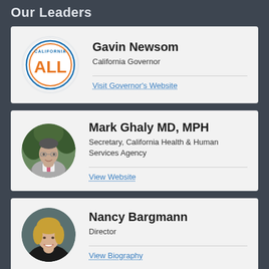Our Leaders
Gavin Newsom
California Governor
Visit Governor's Website
Mark Ghaly MD, MPH
Secretary, California Health & Human Services Agency
View Website
Nancy Bargmann
Director
View Biography